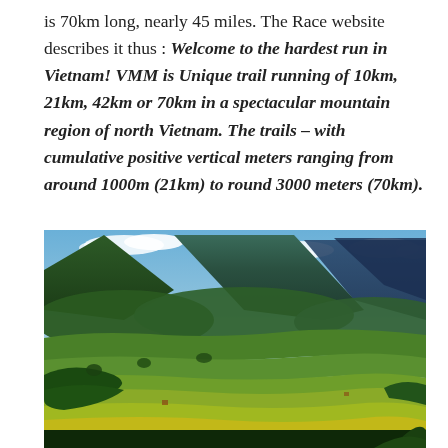is 70km long, nearly 45 miles. The Race website describes it thus : Welcome to the hardest run in Vietnam! VMM is Unique trail running of 10km, 21km, 42km or 70km in a spectacular mountain region of north Vietnam. The trails – with cumulative positive vertical meters ranging from around 1000m (21km) to round 3000 meters (70km).
[Figure (photo): Aerial landscape photograph of terraced rice fields in a mountainous region of north Vietnam, with green forested mountains in the background under a partly cloudy blue sky. Yellow-green terraced paddies cascade down the hillsides in the foreground.]